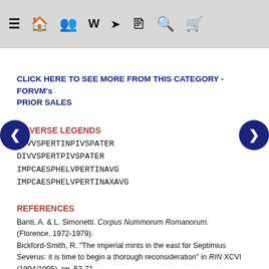≡ 🏠 👥 W ⬆ 📋 🔍 🛒
CLICK HERE TO SEE MORE FROM THIS CATEGORY - FORVM's PRIOR SALES
OBVERSE LEGENDS
DIVVSPERTINPIVSPATER
DIVVSPERTPIVSPATER
IMPCAESPHELVPERTINAVG
IMPCAESPHELVPERTINAXAVG
REFERENCES
Banti, A. & L. Simonetti. Corpus Nummorum Romanorum. (Florence, 1972-1979). Bickford-Smith, R. "The imperial mints in the east for Septimius Severus: it is time to begin a thorough reconsideration" in RIN XCVI (1994/1995), pp. 53-71. Calicó, E. The Roman Avrei, Vol. I: From the Republic to Pertinax, 196 BC - 193 AD. (Barcelona, 2003).